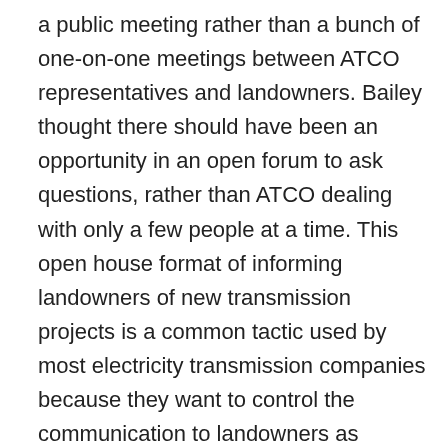a public meeting rather than a bunch of one-on-one meetings between ATCO representatives and landowners. Bailey thought there should have been an opportunity in an open forum to ask questions, rather than ATCO dealing with only a few people at a time. This open house format of informing landowners of new transmission projects is a common tactic used by most electricity transmission companies because they want to control the communication to landowners as opposed to having an open discussion where landowners can take turns asking questions and providing their comments, which generally results in a more collaborative, meaningful and honest exchange of views. In other words, transmission companies do not like to be in the hot seat, where they have to defend their remarks with facts and other credible data.